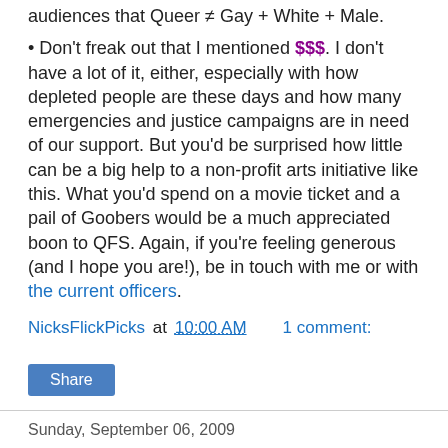audiences that Queer ≠ Gay + White + Male.
• Don't freak out that I mentioned $$$. I don't have a lot of it, either, especially with how depleted people are these days and how many emergencies and justice campaigns are in need of our support. But you'd be surprised how little can be a big help to a non-profit arts initiative like this. What you'd spend on a movie ticket and a pail of Goobers would be a much appreciated boon to QFS. Again, if you're feeling generous (and I hope you are!), be in touch with me or with the current officers.
NicksFlickPicks at 10:00 AM    1 comment:
Share
Sunday, September 06, 2009
The Damn Basterds Won't Let Me Be...
[Figure (photo): Photo of a person against a red background]
...and though I have a lot else to get done this